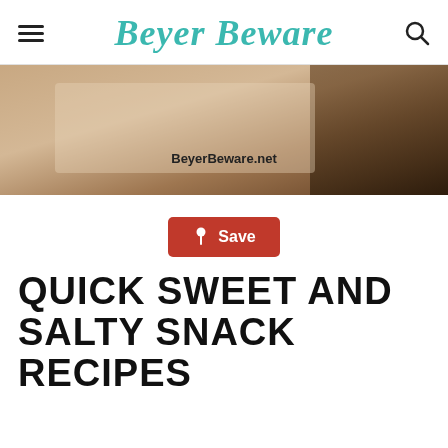Beyer Beware
[Figure (photo): Food photo showing baked snacks on parchment paper with text overlay 'BeyerBeware.net']
[Figure (other): Pinterest Save button with pin icon]
QUICK SWEET AND SALTY SNACK RECIPES